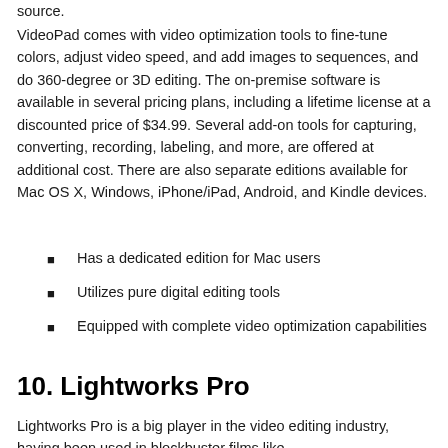source.
VideoPad comes with video optimization tools to fine-tune colors, adjust video speed, and add images to sequences, and do 360-degree or 3D editing. The on-premise software is available in several pricing plans, including a lifetime license at a discounted price of $34.99. Several add-on tools for capturing, converting, recording, labeling, and more, are offered at additional cost. There are also separate editions available for Mac OS X, Windows, iPhone/iPad, Android, and Kindle devices.
Has a dedicated edition for Mac users
Utilizes pure digital editing tools
Equipped with complete video optimization capabilities
10. Lightworks Pro
Lightworks Pro is a big player in the video editing industry, having been used in blockbuster films like